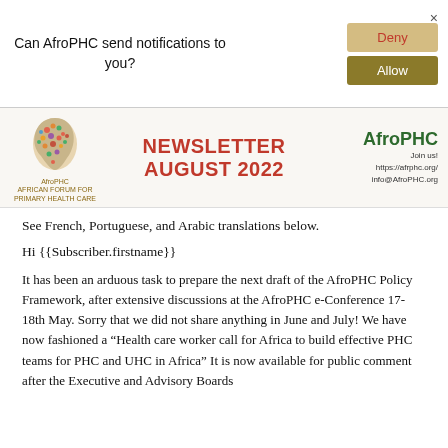[Figure (screenshot): Browser push notification popup asking 'Can AfroPHC send notifications to you?' with Deny and Allow buttons and a close X]
[Figure (logo): AfroPHC Newsletter August 2022 banner with Africa map logo on left, red bold NEWSLETTER AUGUST 2022 text in center, and AfroPHC brand with website info on right]
See French, Portuguese, and Arabic translations below.
Hi {{Subscriber.firstname}}
It has been an arduous task to prepare the next draft of the AfroPHC Policy Framework, after extensive discussions at the AfroPHC e-Conference 17-18th May. Sorry that we did not share anything in June and July! We have now fashioned a “Health care worker call for Africa to build effective PHC teams for PHC and UHC in Africa” It is now available for public comment after the Executive and Advisory Boards